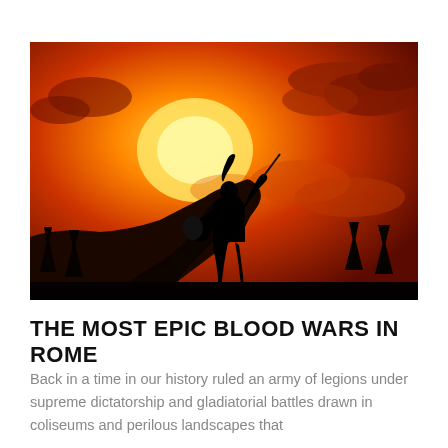[Figure (photo): A silhouette of a Roman warrior in full armor holding a sword and shield, standing on the edge of a cliff against a dramatic orange and red sunset sky with clouds. Silhouetted trees visible in the background at the bottom.]
THE MOST EPIC BLOOD WARS IN ROME
Back in a time in our history ruled an army of legions under supreme dictatorship and gladiatorial battles drawn in coliseums and perilous landscapes that